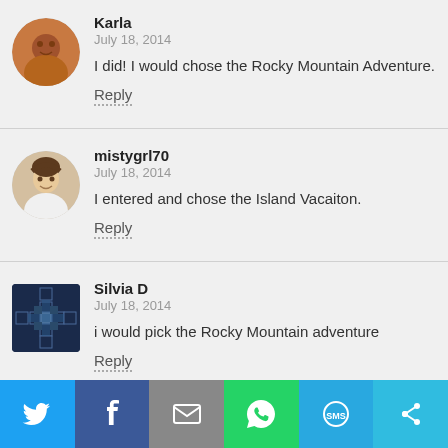[Figure (photo): Circular avatar photo of Karla]
Karla
July 18, 2014
I did! I would chose the Rocky Mountain Adventure.
Reply
[Figure (photo): Circular avatar photo of mistygrl70]
mistygrl70
July 18, 2014
I entered and chose the Island Vacaiton.
Reply
[Figure (logo): Square geometric logo avatar for Silvia D]
Silvia D
July 18, 2014
i would pick the Rocky Mountain adventure
Reply
[Figure (photo): Partial circular avatar photo of Gail]
Gail
[Figure (infographic): Social sharing bar with Twitter, Facebook, Email, WhatsApp, SMS, and other share icons]